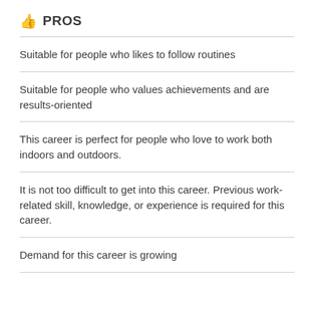👍 PROS
Suitable for people who likes to follow routines
Suitable for people who values achievements and are results-oriented
This career is perfect for people who love to work both indoors and outdoors.
It is not too difficult to get into this career. Previous work-related skill, knowledge, or experience is required for this career.
Demand for this career is growing